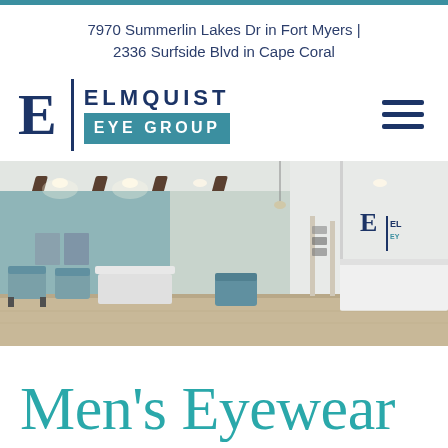7970 Summerlin Lakes Dr in Fort Myers | 2336 Surfside Blvd in Cape Coral
[Figure (logo): Elmquist Eye Group logo with stylized E letter, vertical divider, and teal EYE GROUP banner]
[Figure (photo): Interior of Elmquist Eye Group office showing waiting area with teal chairs, reception desk, and optical displays]
Men's Eyewear